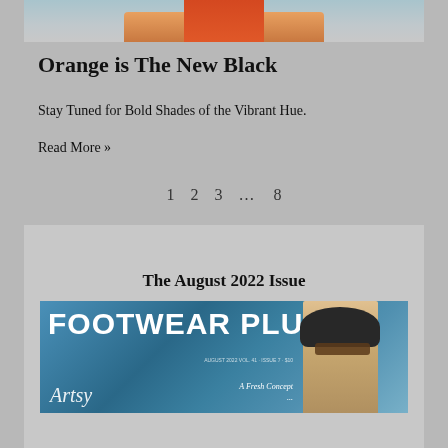[Figure (photo): Partial view of a person wearing colorful clothing at a beach, cropped at top]
Orange is The New Black
Stay Tuned for Bold Shades of the Vibrant Hue.
Read More »
1   2   3   …   8
The August 2022 Issue
[Figure (photo): Cover of Footwear Plus magazine, August 2022 issue, showing a person wearing a dark hat and sunglasses against a blue background, with large white FOOTWEAR PLUS text and cursive script overlay, tagline 'A Fresh Concept']